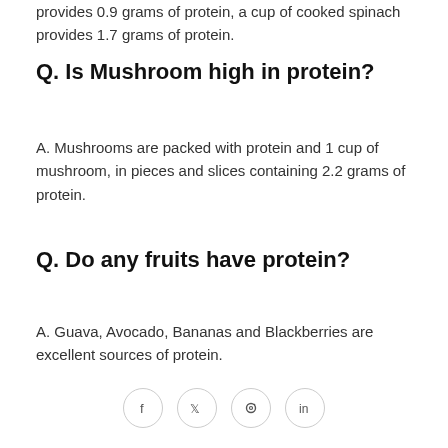provides 0.9 grams of protein, a cup of cooked spinach provides 1.7 grams of protein.
Q. Is Mushroom high in protein?
A. Mushrooms are packed with protein and 1 cup of mushroom, in pieces and slices containing 2.2 grams of protein.
Q. Do any fruits have protein?
A. Guava, Avocado, Bananas and Blackberries are excellent sources of protein.
[Figure (other): Social media share icons: Facebook, Twitter, Pinterest, LinkedIn]